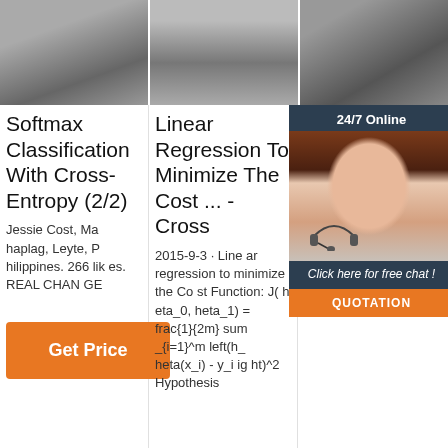[Figure (photo): Three grayscale product photos showing headphones/earphones, arranged side by side at top of page]
Softmax Classification With Cross-Entropy (2/2)
Jessie Cost, Mahaplag, Leyte, Philippines. 266 likes. REAL CHANGE
Linear Regression To Minimize The Cost ... - Cross
2015-9-3 · Linear regression to minimize the Cost Function: J( heta_0, heta_1) = frac{1}{2m} sum_{i=1}^m left(h_heta(x_i) - y_i ight)^2 Hypothesis
Terminology - Wh Sh $R He
202 pol a+b odu n and for different ratios of a and b, more p |frac{a}{b}| it produces inner loop
[Figure (screenshot): Chat widget overlay showing 24/7 Online label, woman with headset photo, Click here for free chat! text, and orange QUOTATION button]